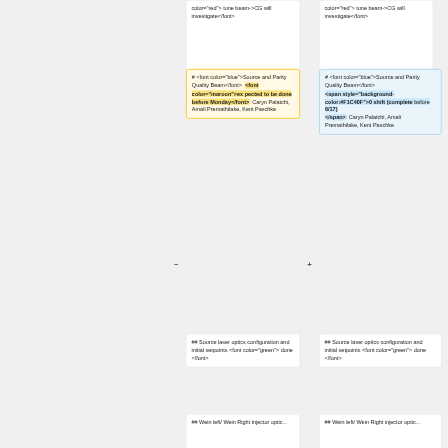color="red"> tune beam->CG will investigate</font>
color="red"> tune beam->CG will investigate</font>
# <font color="blue">Source and Parity Quality Beam</font> <font color="maroon">expected to be done before Monday</font>: Caryn Palatchi, Amali Premathilake, Kent Paschke
# <font color="blue">Source and Parity Quality Beam</font> <span style="background-color:#F1C40F">0 shift (complete before 6/17)</span>: Caryn Palatchi, Amali Premathilake, Kent Paschke
## Source laser optics configuration and initial setpoints <font color="green"> done </font>
## Source laser optics configuration and initial setpoints <font color="green"> done </font>
## Wein left/ Wein Right injector optic...
## Wein left/ Wein Right injector optic...